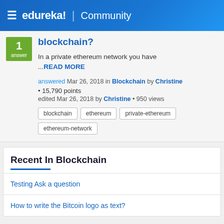≡ edureka! | Community
blockchain?
In a private ethereum network you have ...READ MORE
answered Mar 26, 2018 in Blockchain by Christine
• 15,790 points
edited Mar 26, 2018 by Christine • 950 views
blockchain
ethereum
private-ethereum
ethereum-network
Recent In Blockchain
Testing Ask a question
How to write the Bitcoin logo as text?